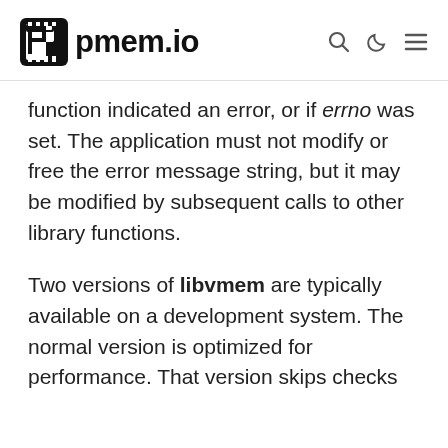pmem.io
function indicated an error, or if errno was set. The application must not modify or free the error message string, but it may be modified by subsequent calls to other library functions.
Two versions of libvmem are typically available on a development system. The normal version is optimized for performance. That version skips checks